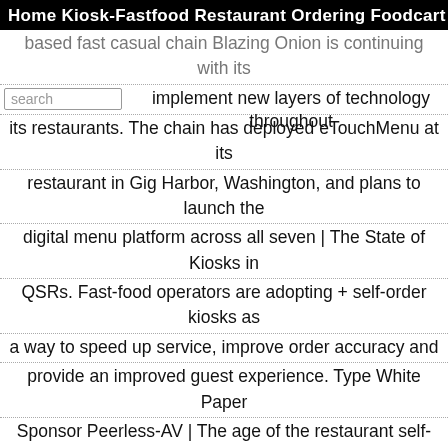Home  Kiosk-Fastfood  Restaurant Ordering  Foodcart
based fast casual chain Blazing Onion is continuing with its implement new layers of technology throughout its restaurants. The chain has deployed eTouchMenu at its restaurant in Gig Harbor, Washington, and plans to launch the digital menu platform across all seven | The State of Kiosks in QSRs. Fast-food operators are adopting + self-order kiosks as a way to speed up service, improve order accuracy and provide an improved guest experience. Type White Paper Sponsor Peerless-AV | The age of the restaurant self-service kiosks has dawned, and it's the end of fast food as we know it. McDonald's is striding into the 21st century with the + rollout of the Create Your Taste touchscreen kiosks, on which custom burgers can be built as well as full-menu ordering. The kiosks are incredibly... | Hungry customers going into a fast food or quick-serve restaurant may have already seen a new addition self ordering kiosks. Industry giant McDonald's + made